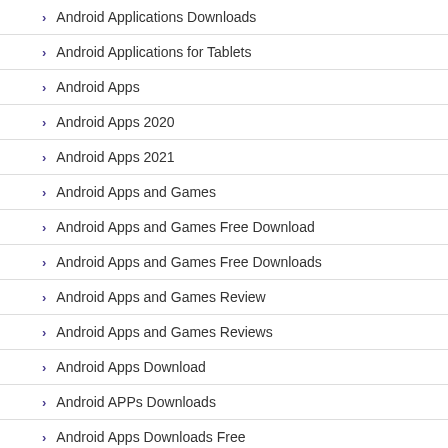Android Applications Downloads
Android Applications for Tablets
Android Apps
Android Apps 2020
Android Apps 2021
Android Apps and Games
Android Apps and Games Free Download
Android Apps and Games Free Downloads
Android Apps and Games Review
Android Apps and Games Reviews
Android Apps Download
Android APPs Downloads
Android Apps Downloads Free
Android Apps for Mobile Phone